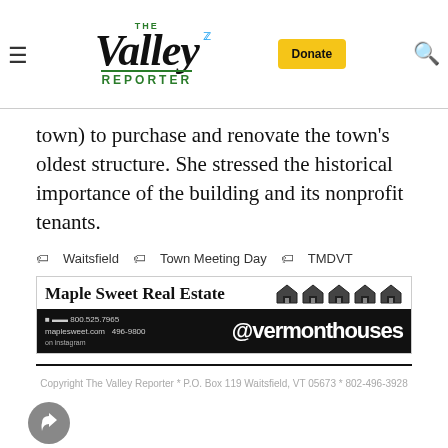The Valley Reporter – Donate
town) to purchase and renovate the town's oldest structure. She stressed the historical importance of the building and its nonprofit tenants.
Waitsfield  Town Meeting Day  TMDVT
[Figure (infographic): Maple Sweet Real Estate advertisement with house icons and @vermonthouses Instagram handle, phone 800.525.7965, maplesweet.com, 496-9800]
Copyright The Valley Reporter * P.O. Box 119 Waitsfield, VT 05673 * 802-496-3928